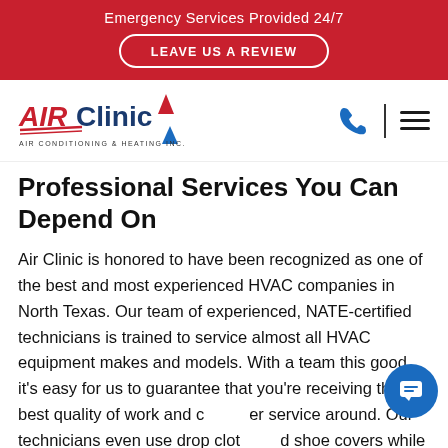Emergency Services Provided 24/7
LEAVE US A REVIEW
[Figure (logo): Air Clinic Air Conditioning & Heating Inc. logo with red and blue stylized text and arrows]
Professional Services You Can Depend On
Air Clinic is honored to have been recognized as one of the best and most experienced HVAC companies in North Texas. Our team of experienced, NATE-certified technicians is trained to service almost all HVAC equipment makes and models. With a team this good, it’s easy for us to guarantee that you’re receiving the best quality of work and customer service around. Our technicians even use drop cloths and shoe covers while working, so we can protect the integrity